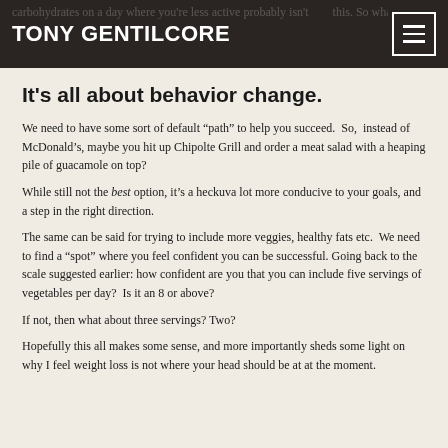TONY GENTILCORE
It’s all about behavior change.
We need to have some sort of default “path” to help you succeed.  So,  instead of McDonald’s, maybe you hit up Chipolte Grill and order a meat salad with a heaping pile of guacamole on top?
While still not the best option, it’s a heckuva lot more conducive to your goals, and a step in the right direction.
The same can be said for trying to include more veggies, healthy fats etc.  We need to find a “spot” where you feel confident you can be successful. Going back to the scale suggested earlier: how confident are you that you can include five servings of vegetables per day?  Is it an 8 or above?
If not, then what about three servings? Two?
Hopefully this all makes some sense, and more importantly sheds some light on why I feel weight loss is not where your head should be at at the moment.